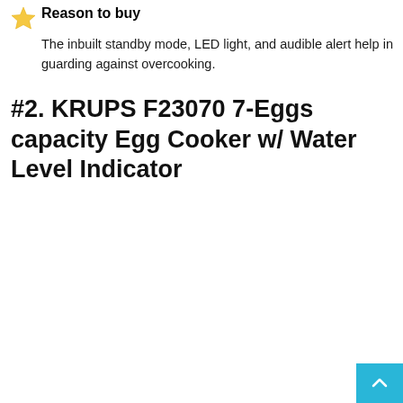Reason to buy
The inbuilt standby mode, LED light, and audible alert help in guarding against overcooking.
#2. KRUPS F23070 7-Eggs capacity Egg Cooker w/ Water Level Indicator